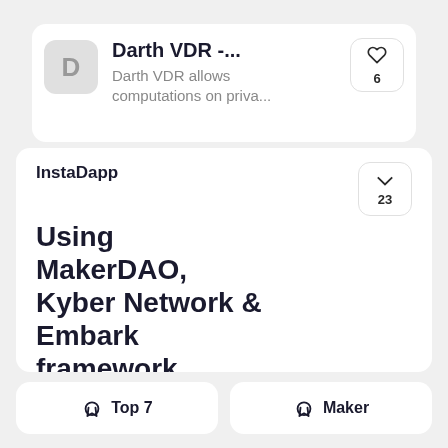[Figure (screenshot): App card for Darth VDR with avatar letter D, title 'Darth VDR -...' and description 'Darth VDR allows computations on priva...' with heart button showing 6]
Darth VDR -...
Darth VDR allows computations on priva...
InstaDapp Using MakerDAO, Kyber Network & Embark framework
Resolver contract & Dapp on top of MakerDAO CDP...
Top 7
Maker